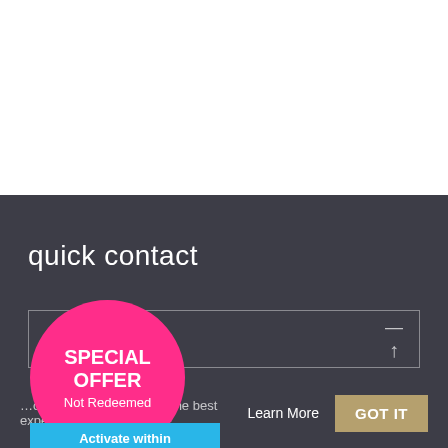[Figure (screenshot): White top area of a webpage with navigation back arrow button on the right side]
quick contact
Enter e-mail*
[Figure (infographic): Special offer badge: pink circle with 'SPECIAL OFFER Not Redeemed' text and a blue 'Activate within 30:00' countdown panel below]
This website uses cookies to ensure you get the best experience on our website.
Learn More
GOT IT